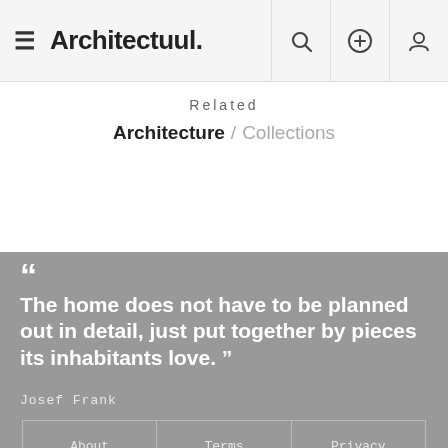Architectuul.
Related
Architecture / Collections
“The home does not have to be planned out in detail, just put together by pieces its inhabitants love.”
Josef Frank
| About | Terms | Privacy |
| Pinterest | Facebook | Twitter |
© 2022 Architectuul